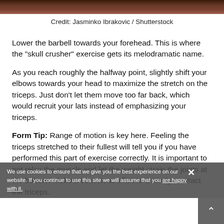[Figure (photo): Top strip of a photo showing a person performing barbell exercise (skull crusher), cropped at the top of the page]
Credit: Jasminko Ibrakovic / Shutterstock
Lower the barbell towards your forehead. This is where the "skull crusher" exercise gets its melodramatic name.
As you reach roughly the halfway point, slightly shift your elbows towards your head to maximize the stretch on the triceps. Just don't let them move too far back, which would recruit your lats instead of emphasizing your triceps.
Form Tip: Range of motion is key here. Feeling the triceps stretched to their fullest will tell you if you have performed this part of exercise correctly. It is important to not relax the muscle and let the weight strain the joints at the bottom. Make a conscious effort to actively contract the triceps.
We use cookies to ensure that we give you the best experience on our website. If you continue to use this site we will assume that you are happy with it.